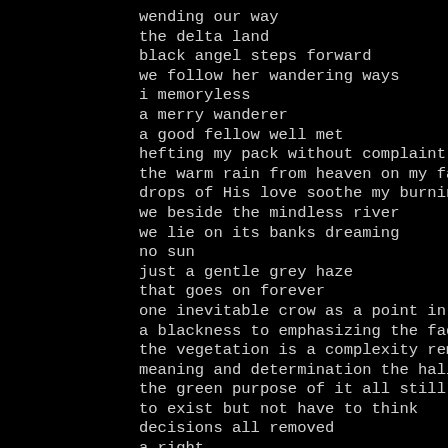wending our way
the delta land
black angel steps forward
we follow her wandering ways
i memoryless
a merry wanderer
a good fellow well met
hefting my pack without complaint
the warm rain from heaven on my face
drops of His love soothe my burning eyes
we beside the mindless river
we lie on its banks dreaming
no sun
just a gentle grey haze
that goes on forever
one inevitable crow as a point in the sky
a blackness to emphasizing the faded grey
the vegetation is a complexity remarkable
meaning and determination the hallmark of life
the green purpose of it all still remains unknown
to exist but not have to think
decisions all removed
a right